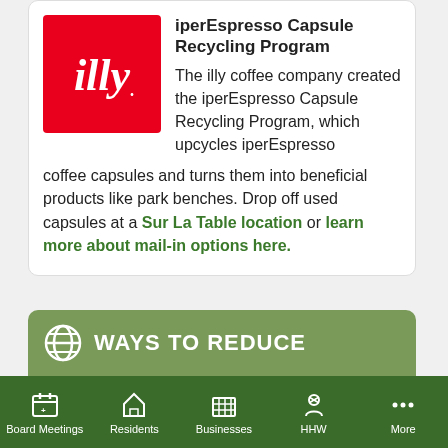[Figure (logo): illy coffee brand logo — white script 'illy' text on red background]
iperEspresso Capsule Recycling Program
The illy coffee company created the iperEspresso Capsule Recycling Program, which upcycles iperEspresso coffee capsules and turns them into beneficial products like park benches. Drop off used capsules at a Sur La Table location or learn more about mail-in options here.
WAYS TO REDUCE
Purchase Reusable Coffee Capsules
Board Meetings   Residents   Businesses   HHW   More